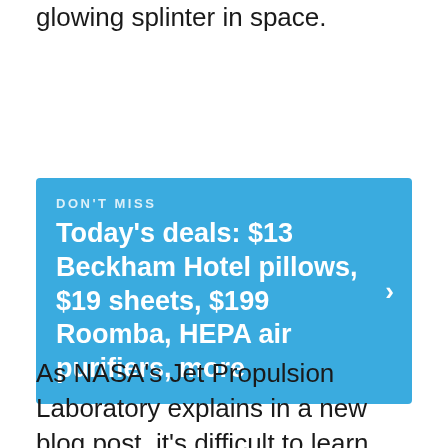glowing splinter in space.
[Figure (infographic): Blue promotional banner with 'DON'T MISS' label and headline: Today's deals: $13 Beckham Hotel pillows, $19 sheets, $199 Roomba, HEPA air purifiers, more. Has a right-pointing chevron arrow on the right side.]
As NASA's Jet Propulsion Laboratory explains in a new blog post, it's difficult to learn about galaxies like this since we can only see a tiny